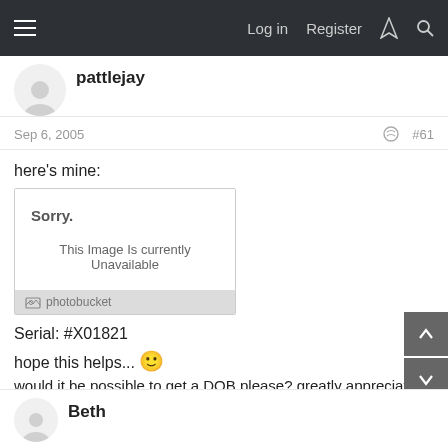Log in  Register
pattlejay
Sep 6, 2005   #61
here's mine:
[Figure (screenshot): Photobucket image unavailable placeholder. Shows 'Sorry.' and 'This Image Is Currently Unavailable' with photobucket logo footer.]
Serial: #X01821
hope this helps... 🙂
would it be possible to get a DOB please? greatly appreciated...
Beth